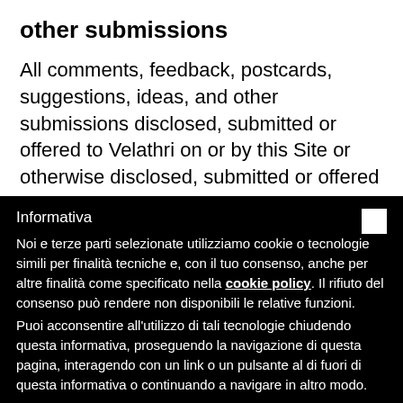other submissions
All comments, feedback, postcards, suggestions, ideas, and other submissions disclosed, submitted or offered to Velathri on or by this Site or otherwise disclosed, submitted or offered in connection with your use of this Site
Informativa
Noi e terze parti selezionate utilizziamo cookie o tecnologie simili per finalità tecniche e, con il tuo consenso, anche per altre finalità come specificato nella cookie policy. Il rifiuto del consenso può rendere non disponibili le relative funzioni.
Puoi acconsentire all'utilizzo di tali tecnologie chiudendo questa informativa, proseguendo la navigazione di questa pagina, interagendo con un link o un pulsante al di fuori di questa informativa o continuando a navigare in altro modo.